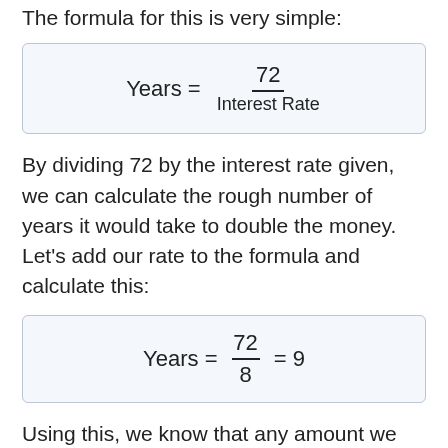The formula for this is very simple:
By dividing 72 by the interest rate given, we can calculate the rough number of years it would take to double the money. Let's add our rate to the formula and calculate this:
Using this, we know that any amount we invest at 8.00% would double itself in approximately 9 years. So $8 would be worth $16 in ~9 years.
We can also calculate the exact length of time it